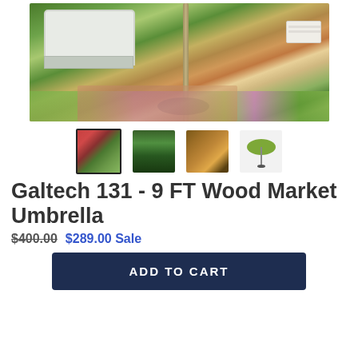[Figure (photo): Main product photo showing an outdoor umbrella with a dark circular base on a brick pathway, surrounded by green landscaping, flowers, and a white monument sign in the background.]
[Figure (photo): Thumbnail 1 (selected): Red-topped market umbrella in garden setting.]
[Figure (photo): Thumbnail 2: Close-up of green umbrella fabric or garden background.]
[Figure (photo): Thumbnail 3: Underneath view of wooden umbrella ribs/frame.]
[Figure (illustration): Thumbnail 4: Product icon showing a green market umbrella silhouette.]
Galtech 131 - 9 FT Wood Market Umbrella
$400.00  $289.00 Sale
ADD TO CART